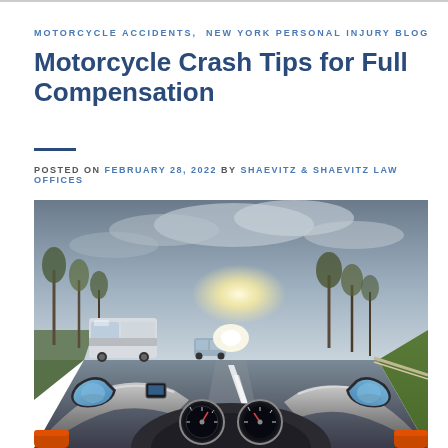MOTORCYCLE ACCIDENTS, NEW YORK PERSONAL INJURY BLOG
Motorcycle Crash Tips for Full Compensation
POSTED ON FEBRUARY 28, 2022 BY SHAEVITZ & SHAEVITZ LAW OFFICES
[Figure (photo): First-person view from a motorcycle rider's perspective on a highway, showing the handlebars, speedometer gauges, side mirrors, a white van, oncoming cars with bright headlights, and trees lining the road under a cloudy sky.]